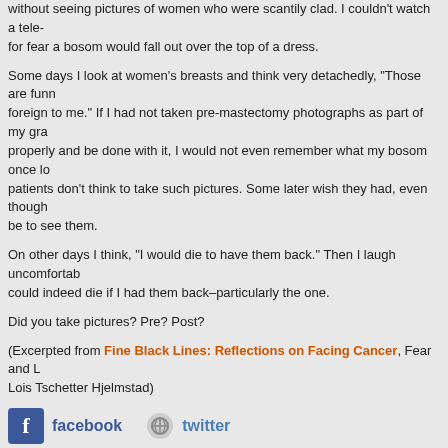without seeing pictures of women who were scantily clad. I couldn't watch a tele- for fear a bosom would fall out over the top of a dress.
Some days I look at women's breasts and think very detachedly, "Those are funny foreign to me." If I had not taken pre-mastectomy photographs as part of my gra- properly and be done with it, I would not even remember what my bosom once lo- patients don't think to take such pictures. Some later wish they had, even though be to see them.
On other days I think, "I would die to have them back." Then I laugh uncomfortab- could indeed die if I had them back–particularly the one.
Did you take pictures? Pre? Post?
(Excerpted from Fine Black Lines: Reflections on Facing Cancer, Fear and L- Lois Tschetter Hjelmstad)
[Figure (screenshot): Social media sharing buttons: Facebook icon with label 'facebook', Twitter icon with label 'twitter', Facebook Like and Share buttons with 'Sign Up to see what your friends like.']
This entry was posted on Tuesday, April 24th, 2012 at 3:39 pm and is filed under Breast C- responses to this entry through the RSS 2.0 feed. You can leave a response, or trackba-
Comments